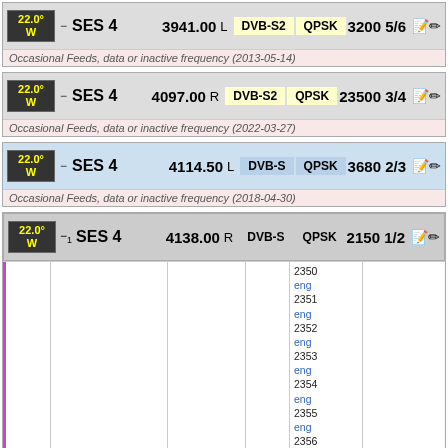| Satellite | Name | Frequency | Pol | Standard | Modulation | SR FEC | Actions |
| --- | --- | --- | --- | --- | --- | --- | --- |
| 22.0°W | SES 4 | 3941.00 | L | DVB-S2 | QPSK | 3200 5/6 |  |
| Occasional Feeds, data or inactive frequency (2013-05-14) |  |  |  |  |  |  |  |
| 22.0°W | SES 4 | 4097.00 | R | DVB-S2 | QPSK | 23500 3/4 |  |
| Occasional Feeds, data or inactive frequency (2022-03-27) |  |  |  |  |  |  |  |
| 22.0°W | SES 4 | 4114.50 | L | DVB-S | QPSK | 3680 2/3 |  |
| Occasional Feeds, data or inactive frequency (2018-04-30) |  |  |  |  |  |  |  |
| 22.0°W | SES 4 | 4138.00 | R | DVB-S | QPSK | 2150 1/2 |  |
|  | Encompass - WES | FTA |  |  | 1 | 2350,eng,2351,eng,2352,eng,2353,eng,2354,eng,2355,eng,2356,eng,2357,eng,2358,eng | 2021-09-19 |